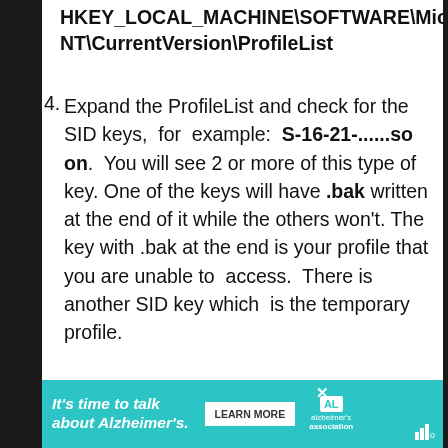HKEY_LOCAL_MACHINE\SOFTWARE\Microsoft NT\CurrentVersion\ProfileList
Expand the ProfileList and check for the SID keys, for example: S-16-21-......so on. You will see 2 or more of this type of key. One of the keys will have .bak written at the end of it while the others won't. The key with .bak at the end is your profile that you are unable to access. There is another SID key which is the temporary profile.
[Figure (infographic): Advertisement banner for Alzheimer's Association: 'It's time to talk about Alzheimer's.' with a LEARN MORE button and Alzheimer's Association logo]